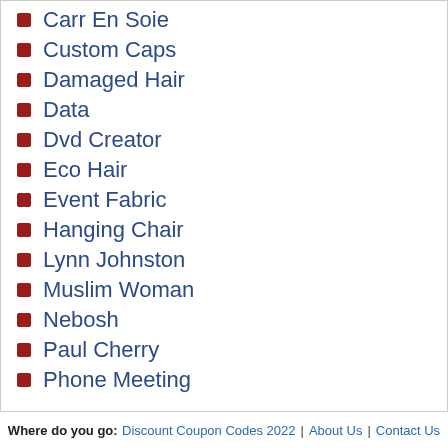Carr En Soie
Custom Caps
Damaged Hair
Data
Dvd Creator
Eco Hair
Event Fabric
Hanging Chair
Lynn Johnston
Muslim Woman
Nebosh
Paul Cherry
Phone Meeting
Where do you go:  Discount Coupon Codes 2022 | About Us | Contact Us